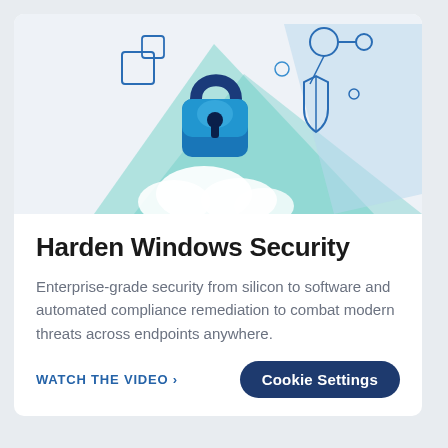[Figure (illustration): Security illustration featuring a blue padlock in the center with cloud shapes below, geometric shapes (squares, circles, shield icon) connected by lines in blue tones, with a teal/cyan diagonal swoosh element in the background on a light blue-gray background.]
Harden Windows Security
Enterprise-grade security from silicon to software and automated compliance remediation to combat modern threats across endpoints anywhere.
WATCH THE VIDEO >
Cookie Settings